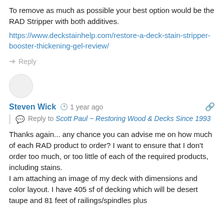To remove as much as possible your best option would be the RAD Stripper with both additives. https://www.deckstainhelp.com/restore-a-deck-stain-stripper-booster-thickening-gel-review/
Reply
[Figure (illustration): User avatar circle, empty/blank]
Steven Wick  1 year ago
Reply to Scott Paul ~ Restoring Wood & Decks Since 1993
Thanks again... any chance you can advise me on how much of each RAD product to order? I want to ensure that I don't order too much, or too little of each of the required products, including stains.
I am attaching an image of my deck with dimensions and color layout. I have 405 sf of decking which will be desert taupe and 81 feet of railings/spindles plus